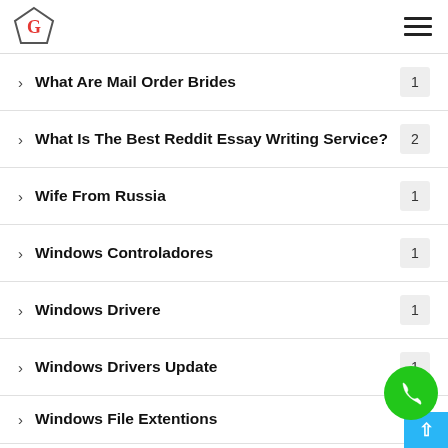G (logo) | hamburger menu
What Are Mail Order Brides  1
What Is The Best Reddit Essay Writing Service?  2
Wife From Russia  1
Windows Controladores  1
Windows Drivere  1
Windows Drivers Update  1
Windows File Extentions
Бизнес Украина  1